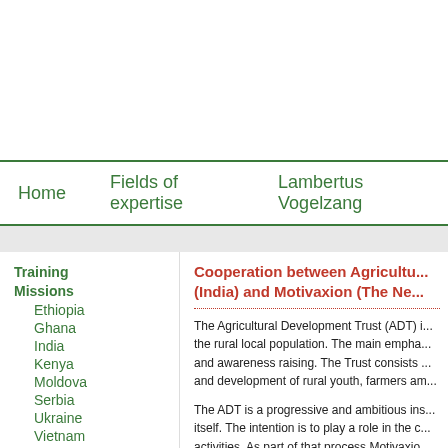Home | Fields of expertise | Lambertus Vogelzang
Training
Missions
Ethiopia
Ghana
India
Kenya
Moldova
Serbia
Ukraine
Vietnam
Studytours
Photo's
Cooperation between Agricultu... (India) and Motivaxion (The Ne...
The Agricultural Development Trust (ADT) i... the rural local population. The main empha... and awareness raising. The Trust consists ... and development of rural youth, farmers am...
The ADT is a progressive and ambitious ins... itself. The intention is to play a role in the c... activities. As part of that process Motivaxio... cooperate with the ADT. The main requests...